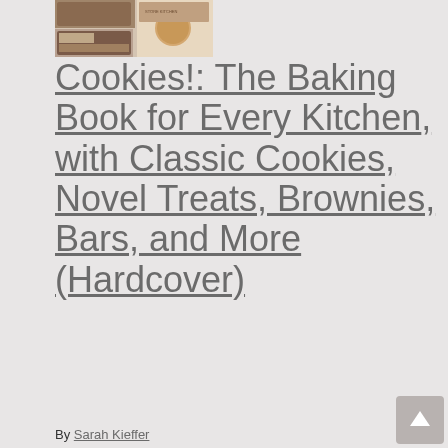[Figure (photo): Book cover of 'Cookies! The Baking Book for Every Kitchen' showing brownies and cookies]
Cookies!: The Baking Book for Every Kitchen, with Classic Cookies, Novel Treats, Brownies, Bars, and More (Hardcover)
By Sarah Kieffer